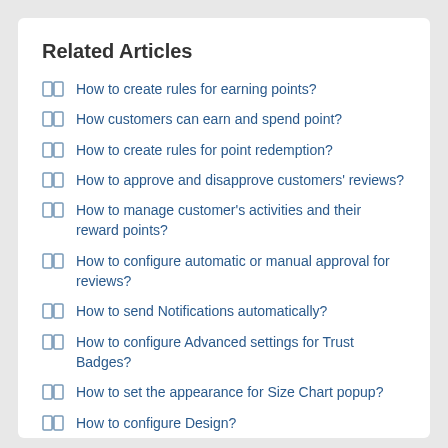Related Articles
How to create rules for earning points?
How customers can earn and spend point?
How to create rules for point redemption?
How to approve and disapprove customers' reviews?
How to manage customer's activities and their reward points?
How to configure automatic or manual approval for reviews?
How to send Notifications automatically?
How to configure Advanced settings for Trust Badges?
How to set the appearance for Size Chart popup?
How to configure Design?